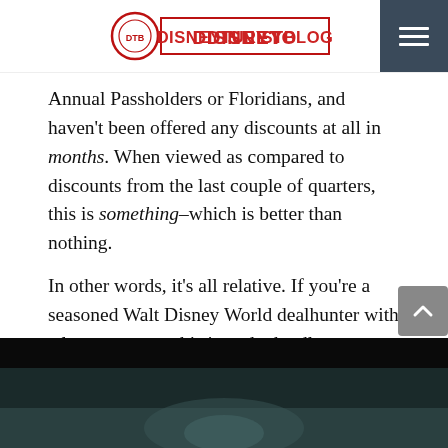DISNEY TOURIST BLOG
Annual Passholders or Floridians, and haven’t been offered any discounts at all in months. When viewed as compared to discounts from the last couple of quarters, this is something–which is better than nothing.
In other words, it’s all relative. If you’re a seasoned Walt Disney World dealhunter with a long memory, this is undoubtedly disappointing. Conversely, if you’ve just started pricing out your first visit within the last few months, this might be exciting. Unless your name is Emmett Brown, it’s not particularly productive to compare this to deals from a few years ago–it’s not like you can go back in time and book those.
[Figure (photo): Dark image, appears to be a nighttime or low-light photo, partially visible at bottom of page]